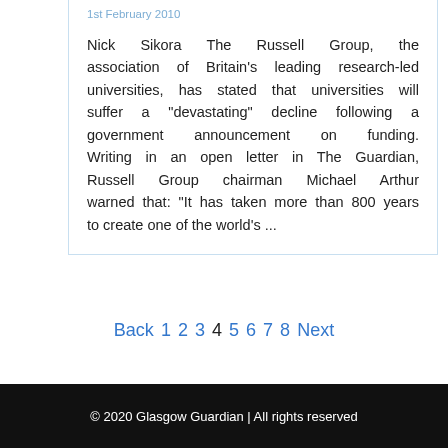1st February 2010
Nick Sikora The Russell Group, the association of Britain's leading research-led universities, has stated that universities will suffer a “devastating” decline following a government announcement on funding. Writing in an open letter in The Guardian, Russell Group chairman Michael Arthur warned that: “It has taken more than 800 years to create one of the world’s ...
Back 1 2 3 4 5 6 7 8 Next
© 2020 Glasgow Guardian | All rights reserved